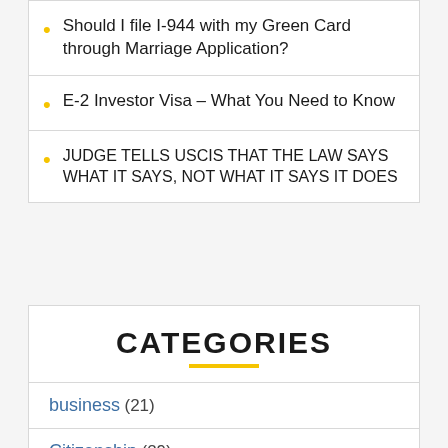Should I file I-944 with my Green Card through Marriage Application?
E-2 Investor Visa – What You Need to Know
JUDGE TELLS USCIS THAT THE LAW SAYS WHAT IT SAYS, NOT WHAT IT SAYS IT DOES
CATEGORIES
business (21)
Citizenship (29)